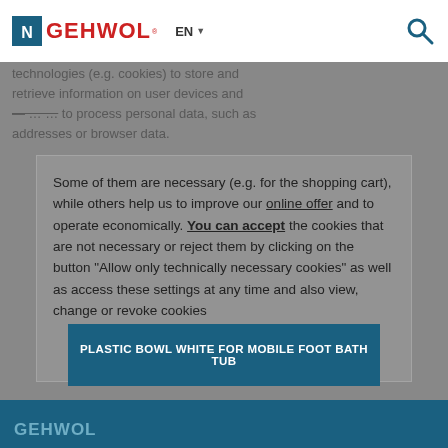GEHWOL EN
technologies (e.g. cookies) to store and retrieve information on user devices and ........to process personal data, such as addresses or browser data.
Some of them are necessary (e.g. for the shopping cart), while others help us to improve our online offer and to operate economically. You can accept the cookies that are not necessary or reject them by clicking on the button "Allow only technically necessary cookies" as well as access these settings at any time and also view, change or revoke cookies
[Figure (illustration): Two gear/settings icons in white, semi-transparent, overlaid on the modal dialog]
PLASTIC BOWL WHITE FOR MOBILE FOOT BATH TUB
GEHWOL